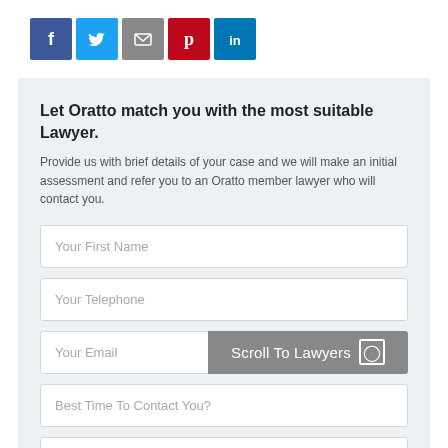[Figure (infographic): Social media share icons: Facebook (blue), Twitter (light blue), Email/envelope (gray), Pinterest (red), LinkedIn (blue)]
Let Oratto match you with the most suitable Lawyer.
Provide us with brief details of your case and we will make an initial assessment and refer you to an Oratto member lawyer who will contact you.
Your First Name
Your Telephone
Your Email
Best Time To Contact You?
Please provide a short description of your case